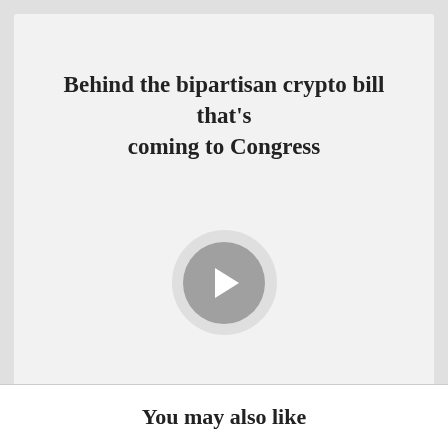Behind the bipartisan crypto bill that’s coming to Congress
[Figure (other): A circular play button with a right-pointing chevron arrow, grey background with lighter outer ring]
Bitcoin Game Theory And Russian Adoption
You may also like